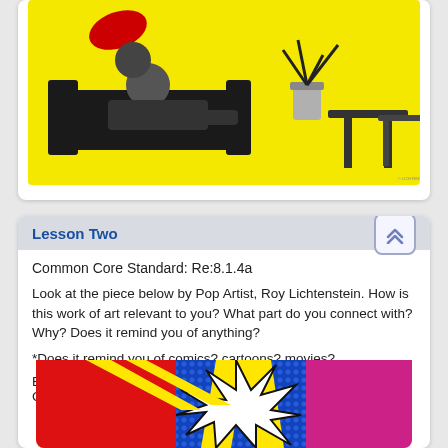[Figure (photo): Black and white photo of a person reclining on a sofa in a room with modern furniture, set against a bright yellow background. A plant and small table are visible on the right side.]
Lesson Two
Common Core Standard: Re:8.1.4a
Look at the piece below by Pop Artist, Roy Lichtenstein. How is this work of art relevant to you? What part do you connect with? Why? Does it remind you of anything?
*Does it remind you of comics? cartoons? movies?
EXTENSION: *If you have art supplies and some extra time* Create your own comic!
[Figure (photo): Colorful Roy Lichtenstein-style pop art comic image with bold red, yellow, blue, pink and white colors and Ben-Day dots pattern, showing an explosive comic book style graphic.]